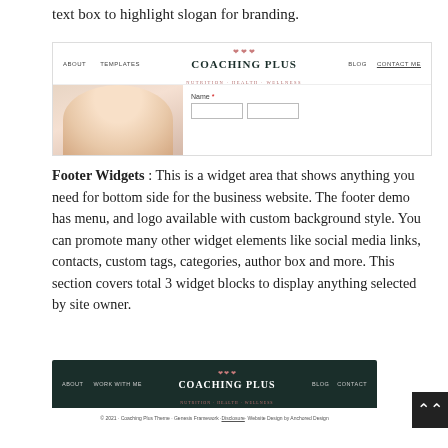text box to highlight slogan for branding.
[Figure (screenshot): Screenshot of a website header for 'Coaching Plus - Nutrition + Health + Wellness' with navigation links (About, Templates, Blog, Contact Me), a central logo with decorative hearts, a photo of a smiling woman, and a form field labeled 'Name'.]
Footer Widgets : This is a widget area that shows anything you need for bottom side for the business website. The footer demo has menu, and logo available with custom background style. You can promote many other widget elements like social media links, contacts, custom tags, categories, author box and more. This section covers total 3 widget blocks to display anything selected by site owner.
[Figure (screenshot): Screenshot of a website footer with dark green background for 'Coaching Plus - Nutrition + Health + Wellness', navigation links (About, Work With Me, Blog, Contact), and a white copyright bar showing '© 2021 · Coaching Plus Theme · Genesis Framework · Disclosure · Website Design by Anchored Design'.]